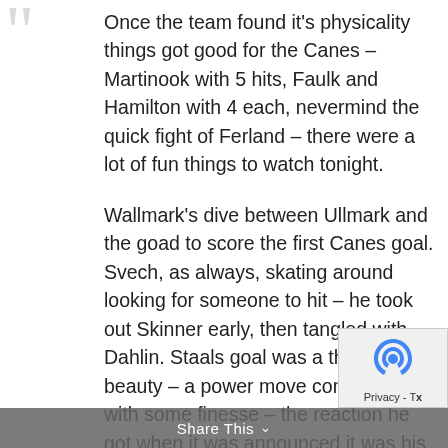Once the team found it's physicality things got good for the Canes – Martinook with 5 hits, Faulk and Hamilton with 4 each, nevermind the quick fight of Ferland – there were a lot of fun things to watch tonight.
Wallmark's dive between Ullmark and the goad to score the first Canes goal. Svech, as always, skating around looking for someone to hit – he took out Skinner early, then tangled with Dahlin. Staals goal was a thing of beauty – a power move combined with some finesse – the reaction he got when it was announced it was his 500th NHL point was a great thing to be a part of.
Share This